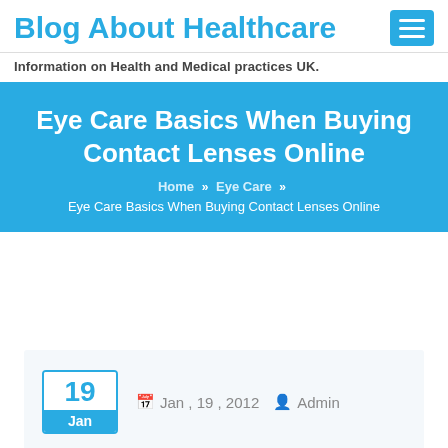Blog About Healthcare
Information on Health and Medical practices UK.
Eye Care Basics When Buying Contact Lenses Online
Home » Eye Care » Eye Care Basics When Buying Contact Lenses Online
Jan , 19 , 2012   Admin